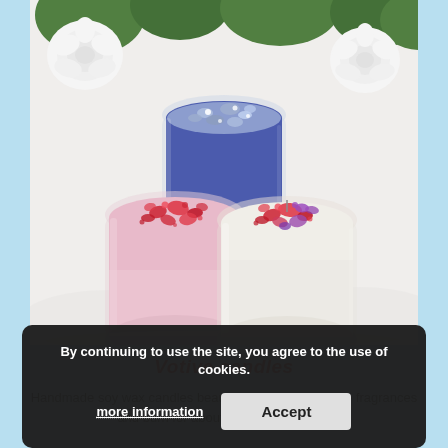[Figure (photo): Three decorative handmade votive candles in glass containers arranged on a white fluffy surface with white roses in the background. Left candle is pink with red crystal decorations on top, center candle is blue with silver glitter/crystals, and right candle is white/cream with red and purple crystal decorations. All are in stemless wine glass-style clear glass containers.]
Votive candles
Handmade soy wax candles beautifully infused with fine fragrances and burn for about 24 hours — £5.99
By continuing to use the site, you agree to the use of cookies.